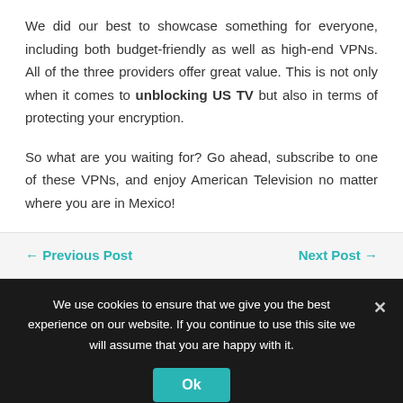We did our best to showcase something for everyone, including both budget-friendly as well as high-end VPNs. All of the three providers offer great value. This is not only when it comes to unblocking US TV but also in terms of protecting your encryption.
So what are you waiting for? Go ahead, subscribe to one of these VPNs, and enjoy American Television no matter where you are in Mexico!
← Previous Post    Next Post →
We use cookies to ensure that we give you the best experience on our website. If you continue to use this site we will assume that you are happy with it.
Ok